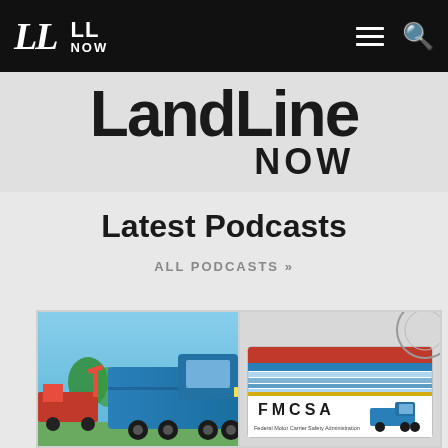LL | LL NOW
[Figure (logo): LandLine NOW large logo on gray background]
Latest Podcasts
ALL PODCASTS »
[Figure (photo): Blue semi-truck cab with red crane truck in background against blue sky]
[Figure (photo): FMCSA Federal Motor Carrier Safety Administration card/document with blue stripes and truck icon]